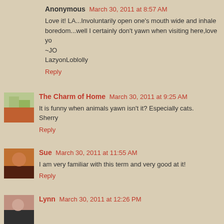Anonymous March 30, 2011 at 8:57 AM
Love it! LA...Involuntarily open one's mouth wide and inhale boredom...well I certainly don't yawn when visiting here,love yo ~JO LazyonLoblolly
Reply
The Charm of Home March 30, 2011 at 9:25 AM
It is funny when animals yawn isn't it? Especially cats. Sherry
Reply
Sue March 30, 2011 at 11:55 AM
I am very familiar with this term and very good at it!
Reply
Lynn March 30, 2011 at 12:26 PM